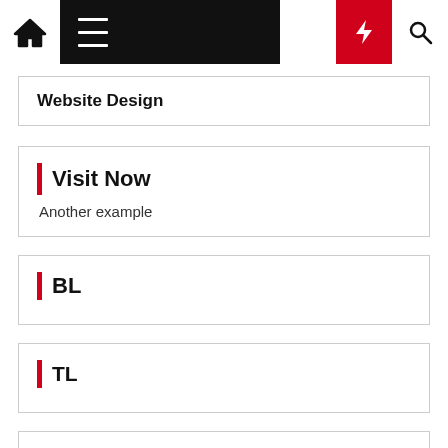Navigation bar with home icon, hamburger menu, moon/dark mode icon, lightning/flash icon, and search icon
Website Design
Visit Now
Another example
BL
TL
[Figure (logo): Intellifluence Trusted badge — circular blue badge with gear icon and text 'Intellifluence' and 'Trusted']